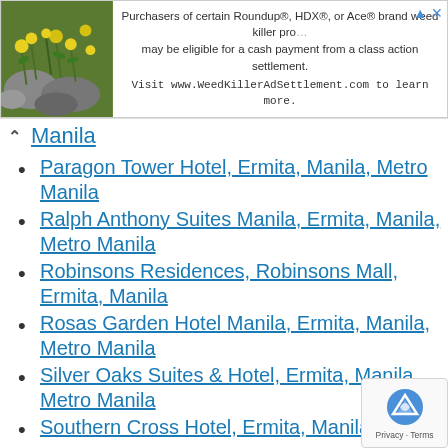[Figure (screenshot): Advertisement banner with plant image on left and text about Roundup/HDX/Ace weed killer class action settlement]
Manila
Paragon Tower Hotel, Ermita, Manila, Metro Manila
Ralph Anthony Suites Manila, Ermita, Manila, Metro Manila
Robinsons Residences, Robinsons Mall, Ermita, Manila
Rosas Garden Hotel Manila, Ermita, Manila, Metro Manila
Silver Oaks Suites & Hotel, Ermita, Manila, Metro Manila
Southern Cross Hotel, Ermita, Manila, Metro Manila
Swagman RPL Hotel Manila, Ermita, Manila,